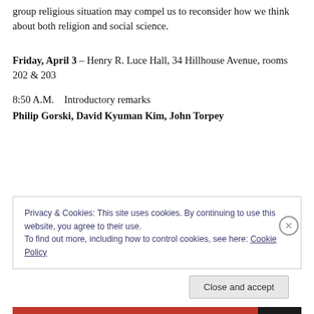group religious situation may compel us to reconsider how we think about both religion and social science.
Friday, April 3 – Henry R. Luce Hall, 34 Hillhouse Avenue, rooms 202 & 203
8:50 A.M.    Introductory remarks
Philip Gorski, David Kyuman Kim, John Torpey
Privacy & Cookies: This site uses cookies. By continuing to use this website, you agree to their use.
To find out more, including how to control cookies, see here: Cookie Policy